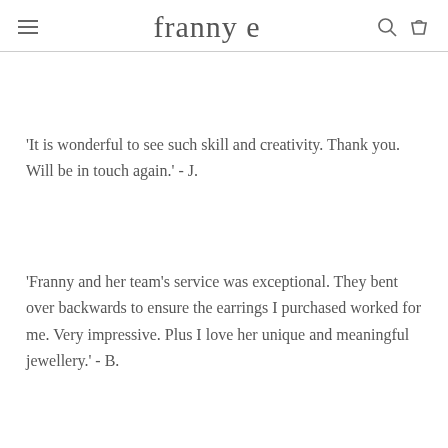franny e
'It is wonderful to see such skill and creativity. Thank you. Will be in touch again.' - J.
'Franny and her team's service was exceptional. They bent over backwards to ensure the earrings I purchased worked for me. Very impressive. Plus I love her unique and meaningful jewellery.' - B.
'Really unique pieces.' - G.